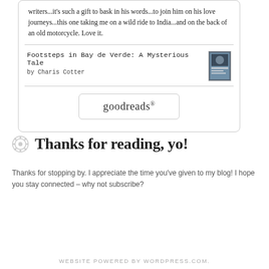writers...it's such a gift to bask in his words...to join him on his love journeys...this one taking me on a wild ride to India...and on the back of an old motorcycle. Love it.
Footsteps in Bay de Verde: A Mysterious Tale by Charis Cotter
[Figure (photo): Book cover thumbnail for Footsteps in Bay de Verde: A Mysterious Tale]
[Figure (logo): goodreads button/logo]
Thanks for reading, yo!
Thanks for stopping by. I appreciate the time you've given to my blog! I hope you stay connected – why not subscribe?
WEBSITE POWERED BY WORDPRESS.COM.